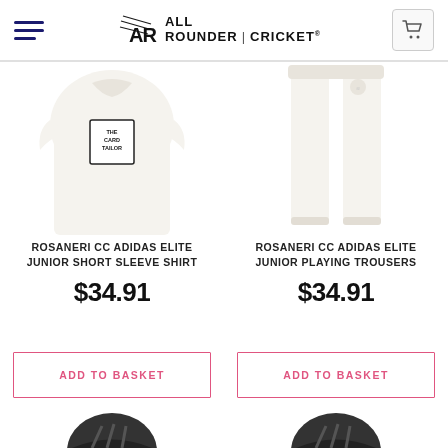All Rounder | Cricket — navigation header with hamburger menu and cart
[Figure (photo): Partial view of a white cricket short sleeve shirt with 'The Card Tailor' logo on chest]
[Figure (photo): Partial view of cream/off-white cricket playing trousers with small badge]
ROSANERI CC ADIDAS ELITE JUNIOR SHORT SLEEVE SHIRT
$34.91
ROSANERI CC ADIDAS ELITE JUNIOR PLAYING TROUSERS
$34.91
ADD TO BASKET
ADD TO BASKET
[Figure (photo): Partial bottom view of a cricket product (dark/black item, cropped)]
[Figure (photo): Partial bottom view of a cricket product (dark/black item, cropped)]